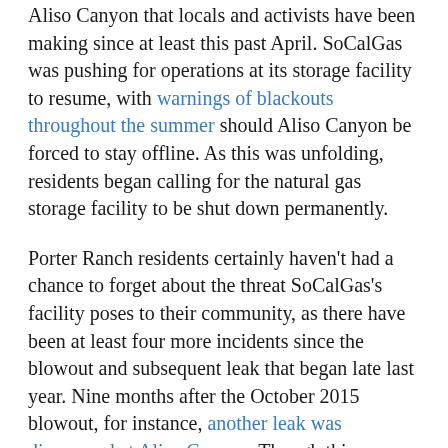Aliso Canyon that locals and activists have been making since at least this past April. SoCalGas was pushing for operations at its storage facility to resume, with warnings of blackouts throughout the summer should Aliso Canyon be forced to stay offline. As this was unfolding, residents began calling for the natural gas storage facility to be shut down permanently.
Porter Ranch residents certainly haven't had a chance to forget about the threat SoCalGas's facility poses to their community, as there have been at least four more incidents since the blowout and subsequent leak that began late last year. Nine months after the October 2015 blowout, for instance, another leak was discovered at Aliso Canyon. Though this one was stopped within a day, the way the company handled disclosure of the leak was met with heavy criticism by locals who felt that the